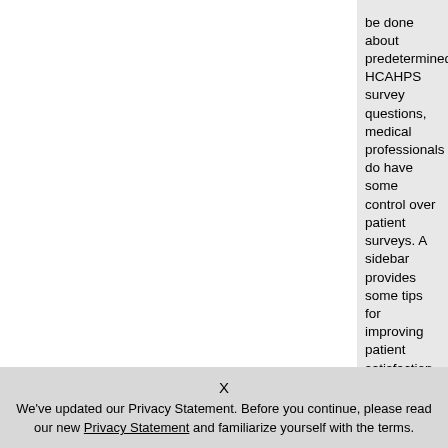be done about predetermined HCAHPS survey questions, medical professionals do have some control over patient surveys. A sidebar provides some tips for improving patient satisfaction.
X
We've updated our Privacy Statement. Before you continue, please read our new Privacy Statement and familiarize yourself with the terms.